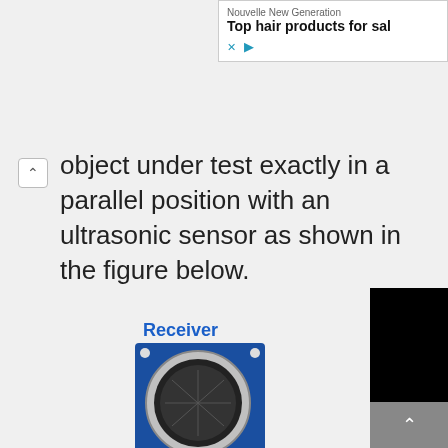[Figure (screenshot): Advertisement banner for Nouvelle New Generation - Top hair products for sale]
object under test exactly in a parallel position with an ultrasonic sensor as shown in the figure below.
[Figure (photo): Photo of an HC-SR04 ultrasonic sensor module with Receiver labeled at top and Transmitter labeled at bottom. The blue sensor board has two circular transducers and gold connector pins on the right side.]
[Figure (other): Black scrollbar panel on the right side of the page]